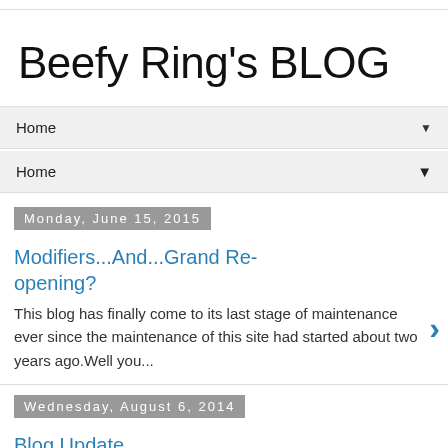Beefy Ring's BLOG
Home ▼
Home ▼
Monday, June 15, 2015
Modifiers...And...Grand Re-opening?
This blog has finally come to its last stage of maintenance ever since the maintenance of this site had started about two years ago.Well you...
Wednesday, August 6, 2014
Blog Update